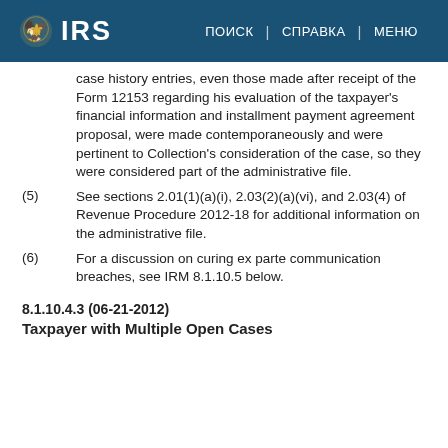IRS | ПОИСК | СПРАВКА | МЕНЮ
case history entries, even those made after receipt of the Form 12153 regarding his evaluation of the taxpayer's financial information and installment payment agreement proposal, were made contemporaneously and were pertinent to Collection's consideration of the case, so they were considered part of the administrative file.
(5) See sections 2.01(1)(a)(i), 2.03(2)(a)(vi), and 2.03(4) of Revenue Procedure 2012-18 for additional information on the administrative file.
(6) For a discussion on curing ex parte communication breaches, see IRM 8.1.10.5 below.
8.1.10.4.3 (06-21-2012)
Taxpayer with Multiple Open Cases